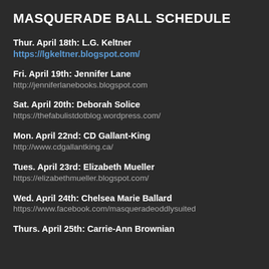MASQUERADE BALL SCHEDULE
Thur. April 18th: L.G. Keltner https://lgkeltner.blogspot.com/
Fri. April 19th: Jennifer Lane
http://jenniferlanebooks.blogspot.com
Sat. April 20th: Deborah Solice
https://thefabulistdotblog.wordpress.com/
Mon. April 22nd: CD Gallant-King
http://www.cdgallantking.ca/
Tues. April 23rd: Elizabeth Mueller
https://elizabethmueller.blogspot.com/
Wed. April 24th: Chelsea Marie Ballard
https://www.facebook.com/masqueradeoddlysuited
Thurs. April 25th: Carrie-Ann Brownian